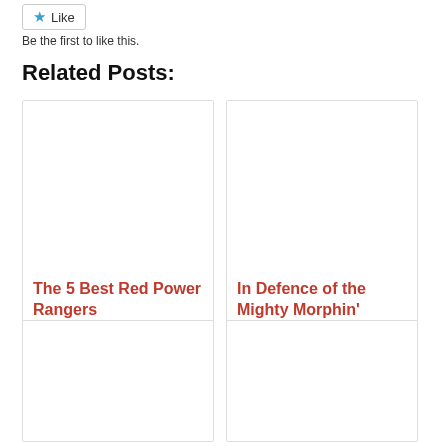[Figure (other): Like button with blue star icon]
Be the first to like this.
Related Posts:
[Figure (photo): Empty image placeholder for The 5 Best Red Power Rangers post]
The 5 Best Red Power Rangers
[Figure (photo): Empty image placeholder for In Defence of the Mighty Morphin' post]
In Defence of the Mighty Morphin'
[Figure (photo): Empty image placeholder for third related post]
[Figure (photo): Empty image placeholder for fourth related post]